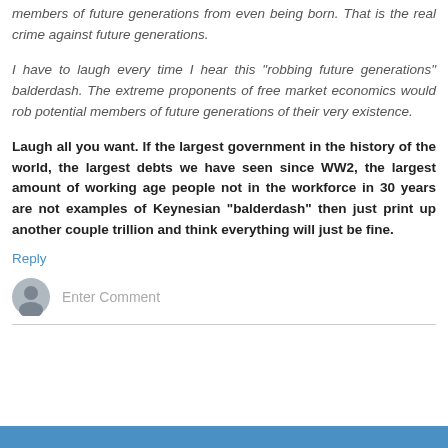members of future generations from even being born. That is the real crime against future generations.
I have to laugh every time I hear this "robbing future generations" balderdash. The extreme proponents of free market economics would rob potential members of future generations of their very existence.
Laugh all you want. If the largest government in the history of the world, the largest debts we have seen since WW2, the largest amount of working age people not in the workforce in 30 years are not examples of Keynesian "balderdash" then just print up another couple trillion and think everything will just be fine.
Reply
Enter Comment